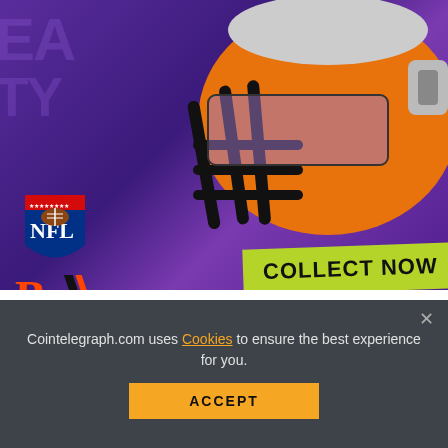[Figure (screenshot): NFL football helmet (orange and black) floating on purple background with NFL shield logo, Cincinnati Bengals logo, and 'COLLECT NOW' banner in the lower right. Part of an EA sports NFT promotional image.]
[Figure (infographic): Social media sharing bar with icons for Facebook, Twitter, Telegram, Reddit, LinkedIn, WhatsApp, Copy, and scroll-to-top buttons.]
Cointelegraph.com uses Cookies to ensure the best experience for you.
ACCEPT